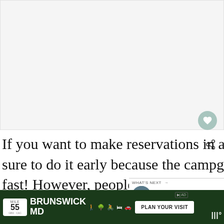[Figure (photo): Large white/light gray placeholder area for a photo at the top of the page]
If you want to make reservations in advance, make sure to do it early because the campgrounds fill up fast! However, people cancel everyday and you might be able to find something the night you need it.
[Figure (screenshot): WHAT'S NEXT panel showing 'Best Hikes in Glacier...' with a circular thumbnail of a mountain lake scene]
[Figure (other): Advertisement bar at the bottom: Mile 55, Brunswick MD, icons for outdoor activities, PLAN YOUR VISIT button, and a temperature widget]